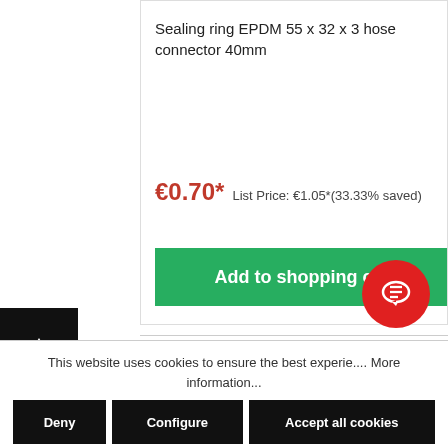Sealing ring EPDM 55 x 32 x 3 hose connector 40mm
€0.70* List Price: €1.05*(33.33% saved)
Add to shopping cart
[Figure (other): Back to top arrow button - black square with white upward arrow]
This website uses cookies to ensure the best experience on our website. More information...
Deny | Configure | Accept all cookies
[Figure (other): Red circular chat/message bubble icon button]